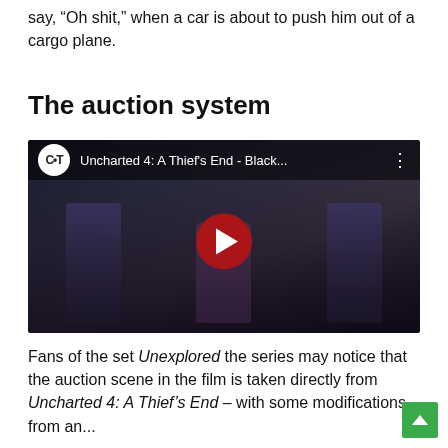say, “Oh shit,” when a car is about to push him out of a cargo plane.
The auction system
[Figure (screenshot): YouTube video embed showing Uncharted 4: A Thief's End - Black... with play button overlay and figures in background]
Fans of the set Unexplored the series may notice that the auction scene in the film is taken directly from Uncharted 4: A Thief’s End – with some modifications from an...